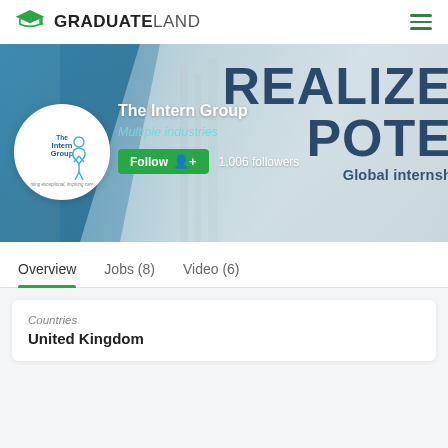GRADUATELAND
[Figure (screenshot): The Intern Group company profile banner on GraduateLand. Shows company logo (The Intern Group), company name, 'Multiple industries' subtitle, Follow button, 1,006 followers, and large background text reading REALIZE POTE... Global internsh...]
Overview   Jobs (8)   Video (6)
Countries
United Kingdom